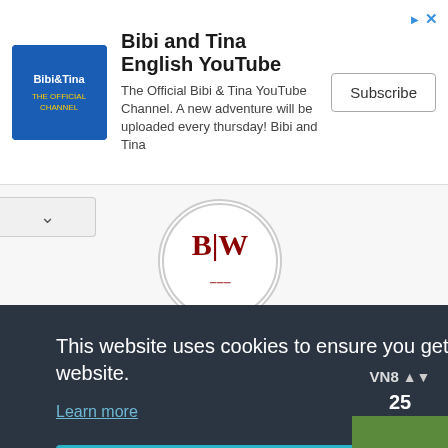[Figure (screenshot): Advertisement banner for Bibi and Tina English YouTube channel with logo, description text, and Subscribe button]
Bibi and Tina English YouTube
The Official Bibi & Tina YouTube Channel. A new adventure will be uploaded every thursday! Bibi and Tina
[-B_W-]
Joined:
23/12/2014
This website uses cookies to ensure you get the best experience on our website.
Learn more
Got it!